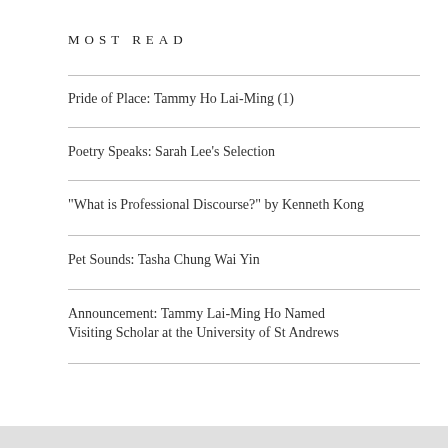MOST READ
Pride of Place: Tammy Ho Lai-Ming (1)
Poetry Speaks: Sarah Lee's Selection
"What is Professional Discourse?" by Kenneth Kong
Pet Sounds: Tasha Chung Wai Yin
Announcement: Tammy Lai-Ming Ho Named Visiting Scholar at the University of St Andrews